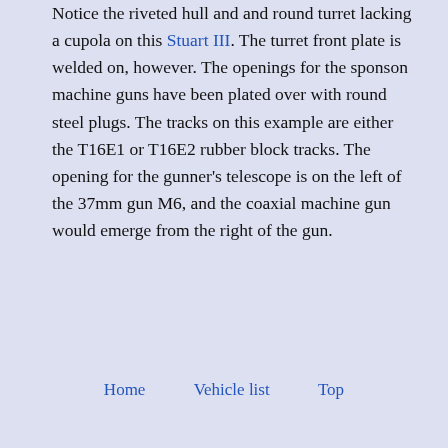Notice the riveted hull and and round turret lacking a cupola on this Stuart III. The turret front plate is welded on, however. The openings for the sponson machine guns have been plated over with round steel plugs. The tracks on this example are either the T16E1 or T16E2 rubber block tracks. The opening for the gunner's telescope is on the left of the 37mm gun M6, and the coaxial machine gun would emerge from the right of the gun.
Home   Vehicle list   Top